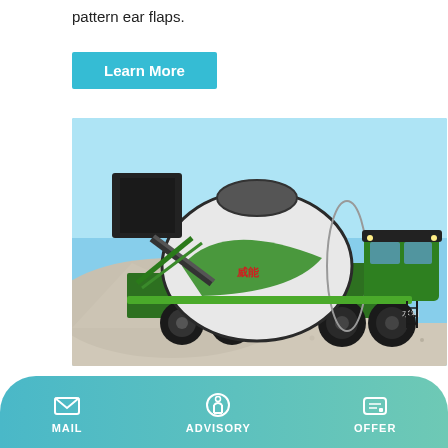pattern ear flaps.
Learn More
[Figure (photo): A green and black self-loading concrete mixer truck parked outdoors with gravel/aggregate piles in the background and a blue sky. The truck has a large white rotating drum with green stripes, large off-road tires, and a cab on the right side. Chinese characters (水箱) are visible on the lower right of the truck.]
What Is A Batching Plant? - Quora
MAIL   ADVISORY   OFFER